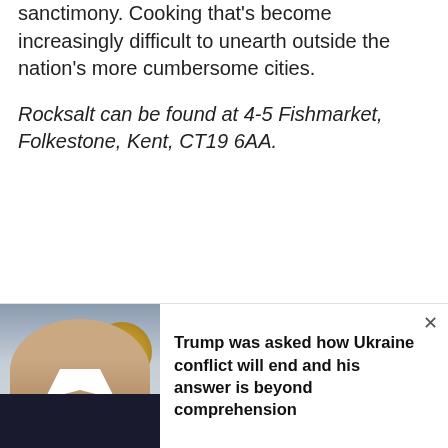sanctimony. Cooking that's become increasingly difficult to unearth outside the nation's more cumbersome cities.
Rocksalt can be found at 4-5 Fishmarket, Folkestone, Kent, CT19 6AA.
[Figure (photo): Photo of a person in a dark suit, with a golden seal/emblem visible in the background]
Trump was asked how Ukraine conflict will end and his answer is beyond comprehension